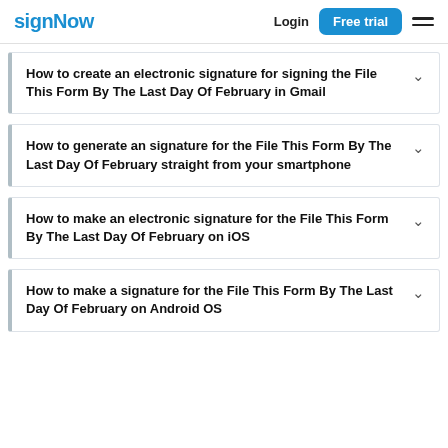signNow  Login  Free trial
How to create an electronic signature for signing the File This Form By The Last Day Of February in Gmail
How to generate an signature for the File This Form By The Last Day Of February straight from your smartphone
How to make an electronic signature for the File This Form By The Last Day Of February on iOS
How to make a signature for the File This Form By The Last Day Of February on Android OS